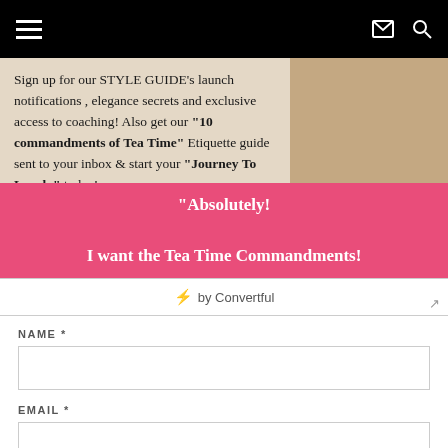[Figure (screenshot): Navigation bar with hamburger menu, email icon, and search icon on black background]
Sign up for our STYLE GUIDE’s launch notifications , elegance secrets and exclusive access to coaching! Also get our “10 commandments of Tea Time” Etiquette guide sent to your inbox & start your “Journey To Lovely” today!
"Absolutely!

I want the Tea Time Commandments!"
⚡ by Convertful
NAME *
EMAIL *